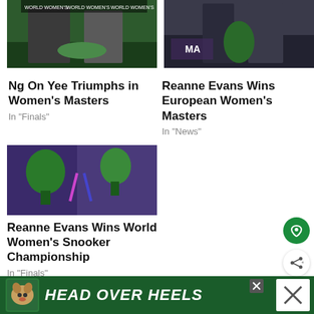[Figure (photo): Two snooker players at World Women's Snooker Tour event, one wearing a mask]
[Figure (photo): Reanne Evans holding a green trophy with another person]
Ng On Yee Triumphs in Women's Masters
In "Finals"
Reanne Evans Wins European Women's Masters
In "News"
[Figure (photo): Person holding multiple snooker trophies and ribbons]
Reanne Evans Wins World Women's Snooker Championship
In "Finals"
[Figure (other): Advertisement banner: HEAD OVER HEELS with dog graphic]